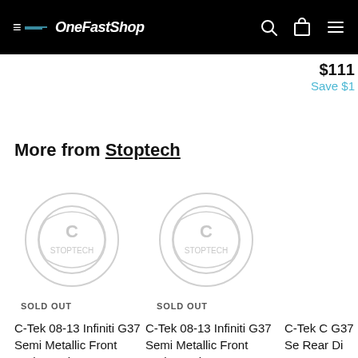OneFastShop
$111 Save $1
More from Stoptech
[Figure (illustration): Product placeholder image - circular logo/icon, gray on white, for C-Tek 08-13 Infiniti G37 Semi Metallic Front Brake Pads]
SOLD OUT
C-Tek 08-13 Infiniti G37 Semi Metallic Front Brake Pads
[Figure (illustration): Product placeholder image - circular logo/icon, gray on white, for C-Tek 08-13 Infiniti G37 Semi Metallic Front Brake Pads]
SOLD OUT
C-Tek 08-13 Infiniti G37 Semi Metallic Front Brake Pads
C-Tek C G37 Se Rear Di